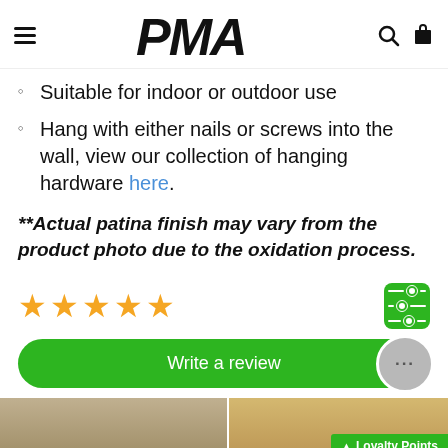PMA (logo with hamburger menu, search, bag icons)
Suitable for indoor or outdoor use
Hang with either nails or screws into the wall, view our collection of hanging hardware here.
**Actual patina finish may vary from the product photo due to the oxidation process.
[Figure (other): Five gold star rating display]
[Figure (other): Green filter/sort button with horizontal sliders icon]
[Figure (other): Green 'Write a review' button with gray chat bubble icon]
[Figure (photo): Two partial product photos side by side at the bottom, with a green Loyalty Points badge on the right image]